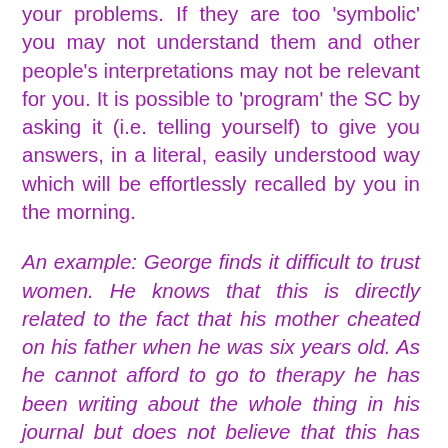your problems. If they are too 'symbolic' you may not understand them and other people's interpretations may not be relevant for you. It is possible to 'program' the SC by asking it (i.e. telling yourself) to give you answers, in a literal, easily understood way which will be effortlessly recalled by you in the morning.
An example: George finds it difficult to trust women. He knows that this is directly related to the fact that his mother cheated on his father when he was six years old. As he cannot afford to go to therapy he has been writing about the whole thing in his journal but does not believe that this has helped him. George reads an article about how dreams can help heal emotional issues so one night before bed, he asks his subconscious how he